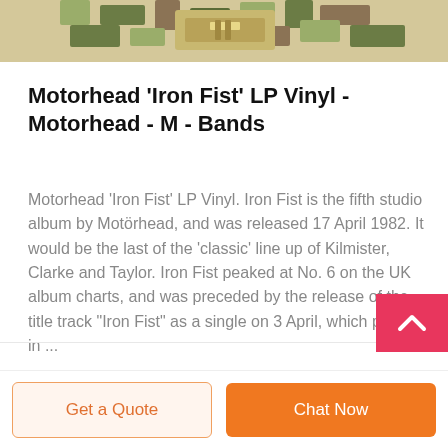[Figure (photo): Partial view of a camouflage military-style belt or strap product shown at the top of the page, cropped.]
Motorhead 'Iron Fist' LP Vinyl - Motorhead - M - Bands
Motorhead 'Iron Fist' LP Vinyl. Iron Fist is the fifth studio album by Motörhead, and was released 17 April 1982. It would be the last of the 'classic' line up of Kilmister, Clarke and Taylor. Iron Fist peaked at No. 6 on the UK album charts, and was preceded by the release of the title track "Iron Fist" as a single on 3 April, which peaked in ...
Get a Quote
Chat Now